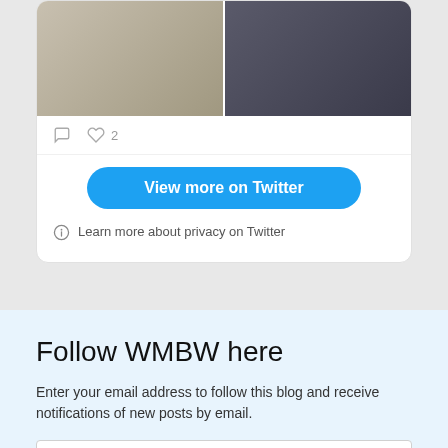[Figure (photo): Two male fashion photos side by side inside a Twitter embedded card]
♡ 2
View more on Twitter
Learn more about privacy on Twitter
Follow WMBW here
Enter your email address to follow this blog and receive notifications of new posts by email.